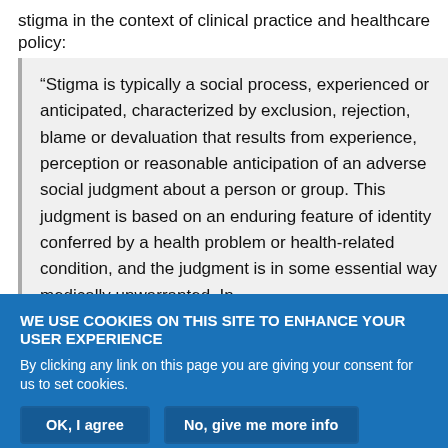stigma in the context of clinical practice and healthcare policy:
“Stigma is typically a social process, experienced or anticipated, characterized by exclusion, rejection, blame or devaluation that results from experience, perception or reasonable anticipation of an adverse social judgment about a person or group. This judgment is based on an enduring feature of identity conferred by a health problem or health-related condition, and the judgment is in some essential way medically unwarranted. In
WE USE COOKIES ON THIS SITE TO ENHANCE YOUR USER EXPERIENCE
By clicking any link on this page you are giving your consent for us to set cookies.